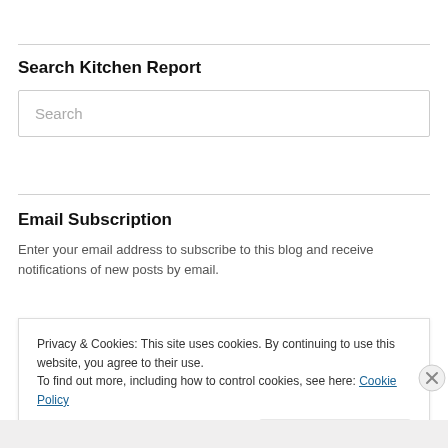Search Kitchen Report
Search
Email Subscription
Enter your email address to subscribe to this blog and receive notifications of new posts by email.
Privacy & Cookies: This site uses cookies. By continuing to use this website, you agree to their use.
To find out more, including how to control cookies, see here: Cookie Policy
Close and accept